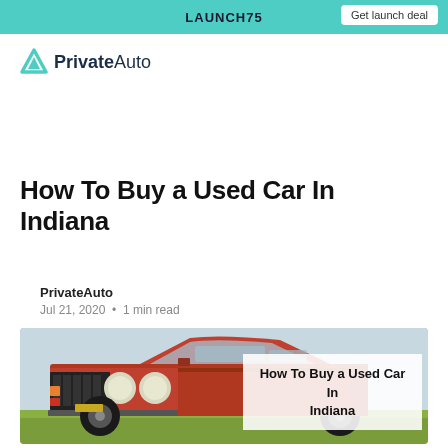LAUNCH75 | Get launch deal
[Figure (logo): PrivateAuto logo with teal triangle icon and text 'PrivateAuto']
How To Buy a Used Car In Indiana
PrivateAuto
Jul 21, 2020 · 1 min read
[Figure (photo): Photo of a red vintage pickup truck (Chevrolet) parked on grass against a light sky background. Overlaid text reads 'How To Buy a Used Car In Indiana']